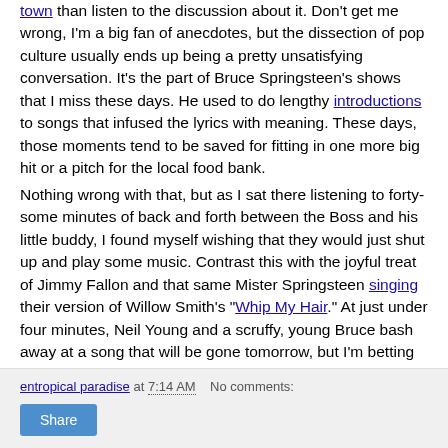town than listen to the discussion about it. Don't get me wrong, I'm a big fan of anecdotes, but the dissection of pop culture usually ends up being a pretty unsatisfying conversation. It's the part of Bruce Springsteen's shows that I miss these days. He used to do lengthy introductions to songs that infused the lyrics with meaning. These days, those moments tend to be saved for fitting in one more big hit or a pitch for the local food bank.
Nothing wrong with that, but as I sat there listening to forty-some minutes of back and forth between the Boss and his little buddy, I found myself wishing that they would just shut up and play some music. Contrast this with the joyful treat of Jimmy Fallon and that same Mister Springsteen singing their version of Willow Smith's "Whip My Hair." At just under four minutes, Neil Young and a scruffy, young Bruce bash away at a song that will be gone tomorrow, but I'm betting that their cover will be in your head for a good while after that. That's genius.
entropical paradise at 7:14 AM   No comments:   Share